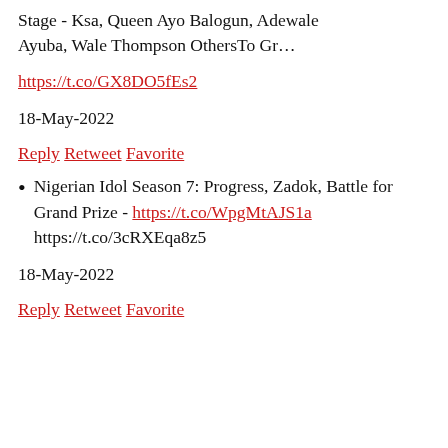Stage - Ksa, Queen Ayo Balogun, Adewale Ayuba, Wale Thompson OthersTo Gr…
https://t.co/GX8DO5fEs2
18-May-2022
Reply Retweet Favorite
Nigerian Idol Season 7: Progress, Zadok, Battle for Grand Prize - https://t.co/WpgMtAJS1a https://t.co/3cRXEqa8z5
18-May-2022
Reply Retweet Favorite